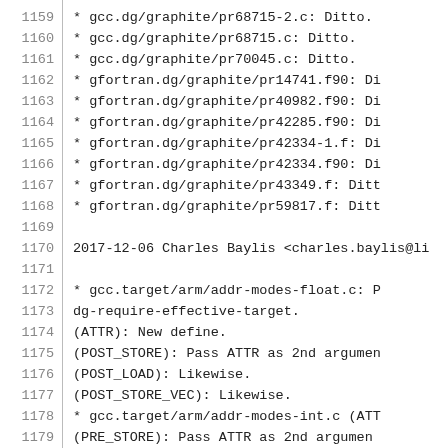1159    * gcc.dg/graphite/pr68715-2.c: Ditto.
1160    * gcc.dg/graphite/pr68715.c: Ditto.
1161    * gcc.dg/graphite/pr70045.c: Ditto.
1162    * gfortran.dg/graphite/pr14741.f90: Di
1163    * gfortran.dg/graphite/pr40982.f90: Di
1164    * gfortran.dg/graphite/pr42285.f90: Di
1165    * gfortran.dg/graphite/pr42334-1.f: Di
1166    * gfortran.dg/graphite/pr42334.f90: Di
1167    * gfortran.dg/graphite/pr43349.f: Ditt
1168    * gfortran.dg/graphite/pr59817.f: Ditt
1169
1170  2017-12-06  Charles Baylis  <charles.baylis@li
1171
1172    * gcc.target/arm/addr-modes-float.c: P
1173    dg-require-effective-target.
1174    (ATTR): New define.
1175    (POST_STORE): Pass ATTR as 2nd argumen
1176    (POST_LOAD): Likewise.
1177    (POST_STORE_VEC): Likewise.
1178    * gcc.target/arm/addr-modes-int.c (ATT
1179    (PRE_STORE): Pass ATTR as 2nd argumen
1180    (POST_STORE): Likewise.